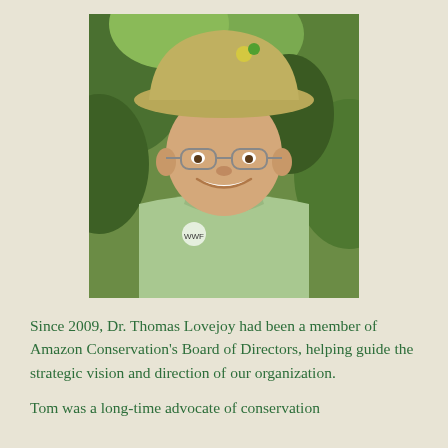[Figure (photo): Portrait photo of Dr. Thomas Lovejoy smiling, wearing a khaki wide-brim hat with a small decorative pin, glasses, and a light green WWF field shirt. Background shows tropical green foliage.]
Since 2009, Dr. Thomas Lovejoy had been a member of Amazon Conservation's Board of Directors, helping guide the strategic vision and direction of our organization.
Tom was a long-time advocate of conservation